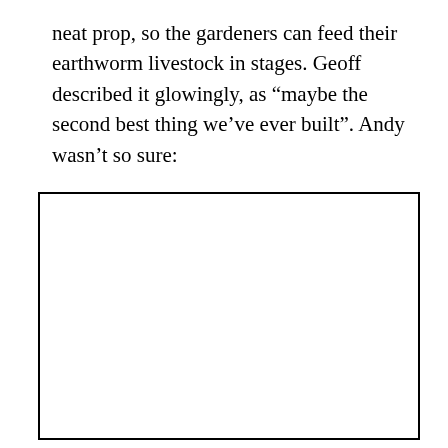neat prop, so the gardeners can feed their earthworm livestock in stages. Geoff described it glowingly, as “maybe the second best thing we’ve ever built”. Andy wasn’t so sure:
[Figure (other): A large empty white rectangle with a black border, representing a blank image placeholder on the page.]